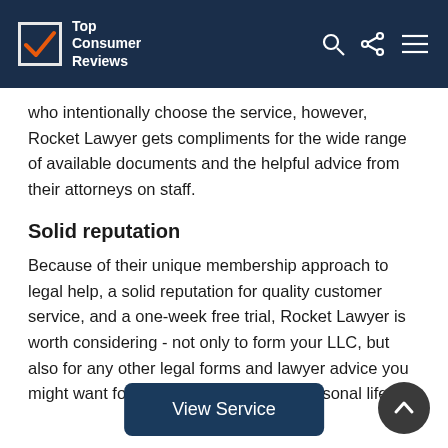Top Consumer Reviews
who intentionally choose the service, however, Rocket Lawyer gets compliments for the wide range of available documents and the helpful advice from their attorneys on staff.
Solid reputation
Because of their unique membership approach to legal help, a solid reputation for quality customer service, and a one-week free trial, Rocket Lawyer is worth considering - not only to form your LLC, but also for any other legal forms and lawyer advice you might want for your business or your personal life.
View Service